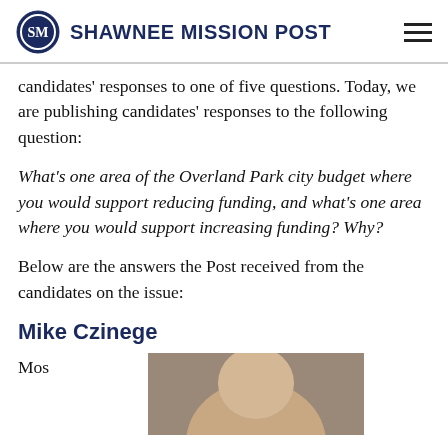SHAWNEE MISSION POST
candidates' responses to one of five questions. Today, we are publishing candidates' responses to the following question:
What's one area of the Overland Park city budget where you would support reducing funding, and what's one area where you would support increasing funding? Why?
Below are the answers the Post received from the candidates on the issue:
Mike Czinege
Mos
[Figure (photo): Partial photo of Mike Czinege, showing top of head]